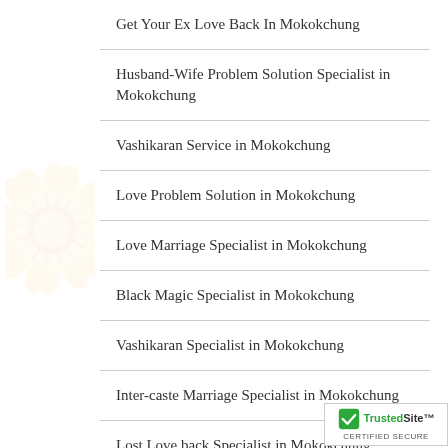Get Your Ex Love Back In Mokokchung
Husband-Wife Problem Solution Specialist in Mokokchung
Vashikaran Service in Mokokchung
Love Problem Solution in Mokokchung
Love Marriage Specialist in Mokokchung
Black Magic Specialist in Mokokchung
Vashikaran Specialist in Mokokchung
Inter-caste Marriage Specialist in Mokokchung
Lost Love back Specialist in Mokokchung
Divorce Problem Solution Famous Panditji in Mokokchung